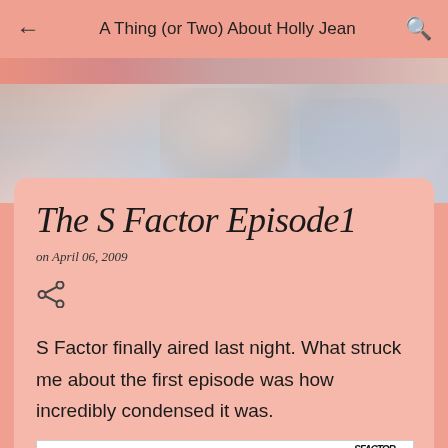A Thing (or Two) About Holly Jean
[Figure (photo): Blurred hero image at top of blog post]
The S Factor Episode1
on April 06, 2009
[Figure (other): Share icon]
S Factor finally aired last night. What struck me about the first episode was how incredibly condensed it was.
[Figure (screenshot): Screenshot of S Factor website showing navigation bar with HOME, THE SHOW, PHOTOS, THE GIRLS, VIDEOS, FORUM links, the S Factor logo, and group photo of girls in white outfits]